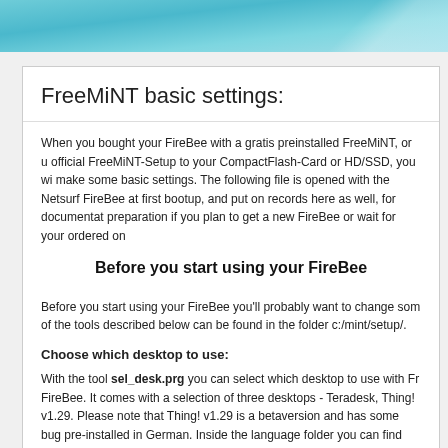FreeMiNT basic settings:
When you bought your FireBee with a gratis preinstalled FreeMiNT, or used the official FreeMiNT-Setup to your CompactFlash-Card or HD/SSD, you will need to make some basic settings. The following file is opened with the Netsurf on your FireBee at first bootup, and put on records here as well, for documentation and preparation if you plan to get a new FireBee or wait for your ordered one.
Before you start using your FireBee
Before you start using your FireBee you'll probably want to change some settings. All of the tools described below can be found in the folder c:/mint/setup/.
Choose which desktop to use:
With the tool sel_desk.prg you can select which desktop to use with FreeMiNT on your FireBee. It comes with a selection of three desktops - Teradesk, Thing! v1.27 and Thing! v1.29. Please note that Thing! v1.29 is a betaversion and has some bugs. Thing! v1.27 is pre-installed in German. Inside the language folder you can find the DE, UK and IT RSC files for Thing! v1.27 and DE, UK and IT RSC files for Thing! v1.29.
sel_desk.prg is automatically started the first time you boot your FireBee